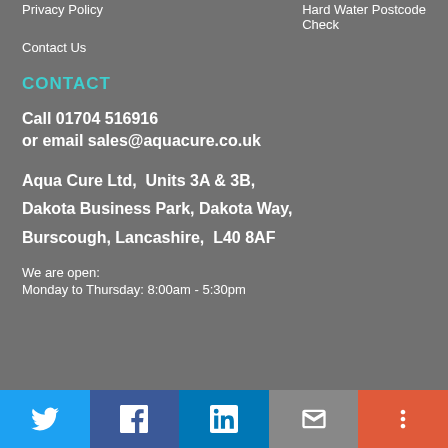Privacy Policy
Contact Us
Hard Water Postcode Check
CONTACT
Call 01704 516916
or email sales@aquacure.co.uk
Aqua Cure Ltd,  Units 3A & 3B,
Dakota Business Park, Dakota Way,
Burscough, Lancashire,  L40 8AF
We are open:
Monday to Thursday: 8:00am - 5:30pm
Twitter | Facebook | LinkedIn | Email | More